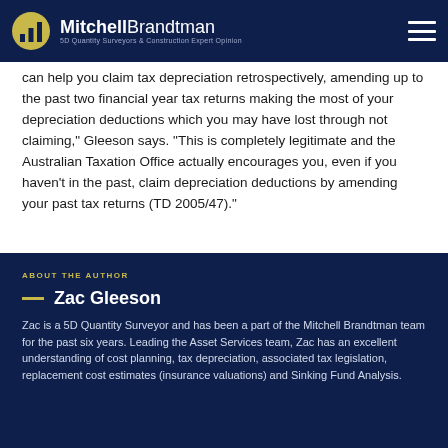MitchellBrandtman — 5D Quantity Surveyors & Construction Expert Opinion
can help you claim tax depreciation retrospectively, amending up to the past two financial year tax returns making the most of your depreciation deductions which you may have lost through not claiming," Gleeson says. "This is completely legitimate and the Australian Taxation Office actually encourages you, even if you haven't in the past, claim depreciation deductions by amending your past tax returns (TD 2005/47)."
ABOUT THE AUTHOR
Zac Gleeson
Zac is a 5D Quantity Surveyor and has been a part of the Mitchell Brandtman team for the past six years. Leading the Asset Services team, Zac has an excellent understanding of cost planning, tax depreciation, associated tax legislation, replacement cost estimates (insurance valuations) and Sinking Fund Analysis.